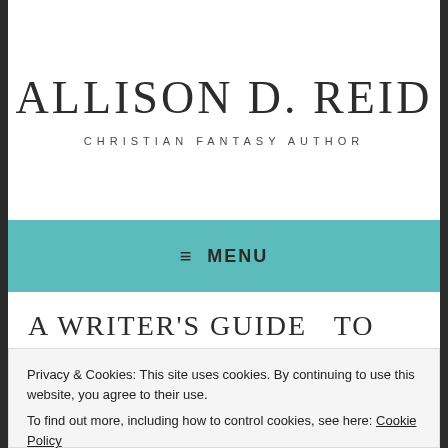ALLISON D. REID
CHRISTIAN FANTASY AUTHOR
≡ MENU
A WRITER'S GUIDE  TO
Privacy & Cookies: This site uses cookies. By continuing to use this website, you agree to their use.
To find out more, including how to control cookies, see here: Cookie Policy
Close and accept
February 5, 2019